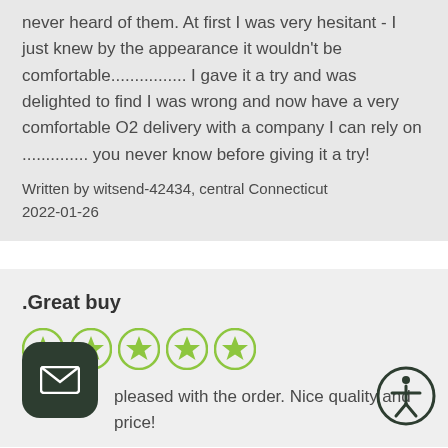never heard of them. At first I was very hesitant - I just knew by the appearance it wouldn't be comfortable................ I gave it a try and was delighted to find I was wrong and now have a very comfortable O2 delivery with a company I can rely on .............. you never know before giving it a try!
Written by witsend-42434, central Connecticut 2022-01-26
.Great buy
[Figure (other): Five yellow-green star rating icons]
pleased with the order. Nice quality and price!